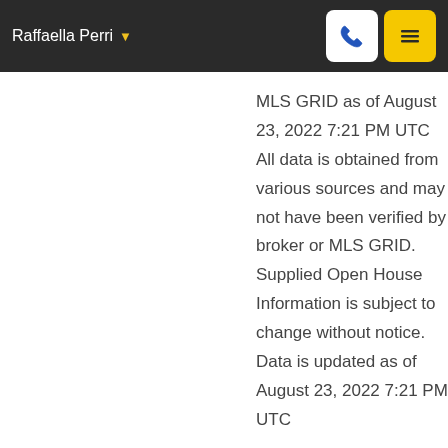Raffaella Perri
MLS GRID as of August 23, 2022 7:21 PM UTC All data is obtained from various sources and may not have been verified by broker or MLS GRID. Supplied Open House Information is subject to change without notice. Data is updated as of August 23, 2022 7:21 PM UTC
33. Required DMCA Notice
DMCA Disclaimer
The Digital Millennium